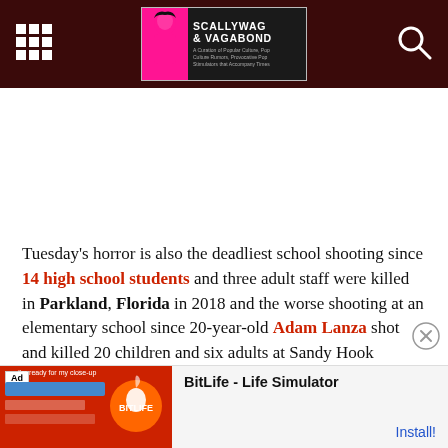Scallywag & Vagabond
[Figure (other): White advertisement banner space (empty ad area)]
Tuesday's horror is also the deadliest school shooting since 14 high school students and three adult staff were killed in Parkland, Florida in 2018 and the worse shooting at an elementary school since 20-year-old Adam Lanza shot and killed 20 children and six adults at Sandy Hook Elementary School in Newtown, Connecticut, in December of 2012.
[Figure (screenshot): BitLife - Life Simulator advertisement banner at the bottom of the page]